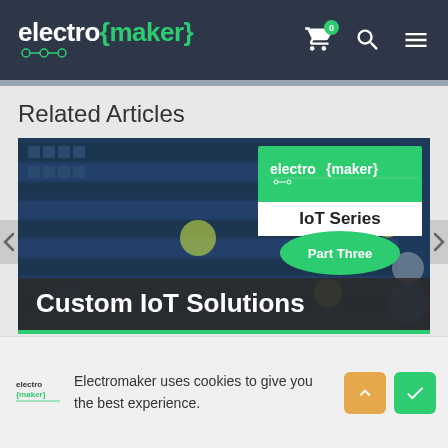electro {maker}
Related Articles
[Figure (screenshot): Electromaker article card showing 'Custom IoT Solutions' — IoT Series Part Three, with server/data center background image, electromaker logo overlay in green, white 'IoT Series' label, and 'Part Three' green arc badge. Navigation arrows on sides.]
Electromaker uses cookies to give you the best experience.